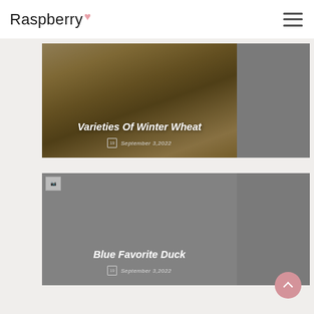Raspberry
[Figure (photo): Blog card with wheat/grain image on dark overlay background. Title: Varieties Of Winter Wheat. Date: September 3,2022]
Varieties Of Winter Wheat
September 3,2022
[Figure (photo): Blog card with gray background and small thumbnail. Title: Blue Favorite Duck. Date: September 3,2022]
Blue Favorite Duck
September 3,2022